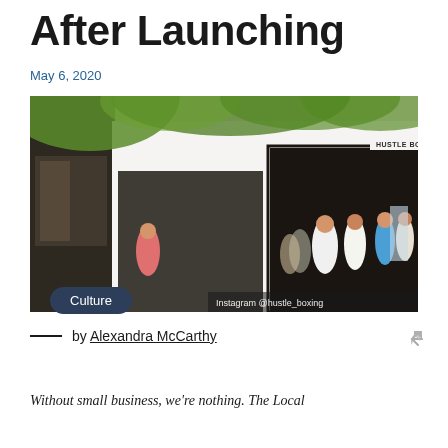After Launching
May 6, 2020
[Figure (photo): Exterior storefront of Hustle Boxing gym. People are walking in and out; green tree branches overhead. Instagram @hustle_boxing watermark on image.]
Culture
by Alexandra McCarthy
Without small business, we're nothing. The Local